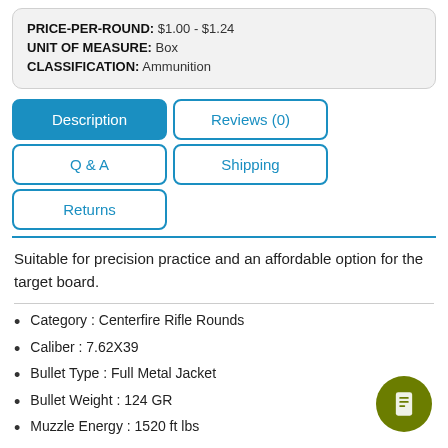| PRICE-PER-ROUND: | $1.00 - $1.24 |
| UNIT OF MEASURE: | Box |
| CLASSIFICATION: | Ammunition |
[Figure (infographic): Tab navigation with 5 tabs: Description (active/blue), Reviews (0), Q & A, Shipping, Returns]
Suitable for precision practice and an affordable option for the target board.
Category : Centerfire Rifle Rounds
Caliber : 7.62X39
Bullet Type : Full Metal Jacket
Bullet Weight : 124 GR
Muzzle Energy : 1520 ft lbs